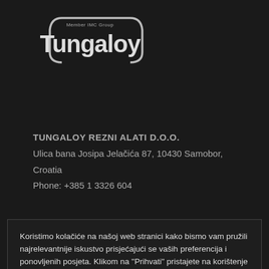[Figure (logo): Tungaloy logo — Member IMC Group, white text on dark background with oval border element]
TUNGALOY REZNI ALATI D.O.O.
Ulica bana Josipa Jelačića 87, 10430 Samobor, Croatia
Phone: +385 1 3326 604
Koristimo kolačiće na našoj web stranici kako bismo vam pružili najrelevantnije iskustvo prisjećajući se vaših preferencija i ponovljenih posjeta. Klikom na "Prihvati" pristajete na korištenje SVIH kolačića. Saznajte više o Pravila o kolačićima.
PRIHVATI
TungSpot login